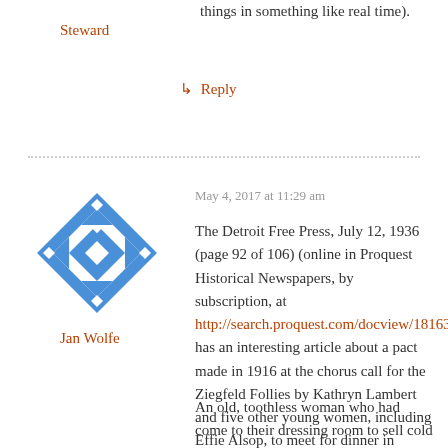things in something like real time).
Steward
↳ Reply
[Figure (illustration): Blue geometric snowflake/quilt-pattern avatar icon for user Jan Wolfe]
Jan Wolfe
May 4, 2017 at 11:29 am
The Detroit Free Press, July 12, 1936 (page 92 of 106) (online in Proquest Historical Newspapers, by subscription, at http://search.proquest.com/docview/18163446527) has an interesting article about a pact made in 1916 at the chorus call for the Ziegfeld Follies by Kathryn Lambert and five other young women, including Effie Alsop, to meet for dinner in twenty years.
An old, toothless woman who had come to their dressing room to sell cold cream told the six young women that she had been a